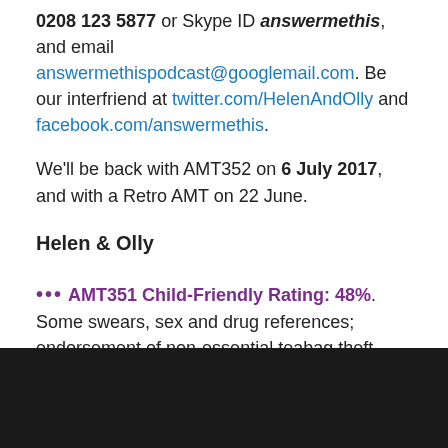0208 123 5877 or Skype ID answermethis, and email answermethispodcast@googlemail.com. Be our interfriend at twitter.com/HelenAndOlly and facebook.com/answermethis.
We'll be back with AMT352 on 6 July 2017, and with a Retro AMT on 22 June.
Helen & Olly
••• AMT351 Child-Friendly Rating: 48%. Some swears, sex and drug references; endorsement of non-essential teabag theft, which may send your offspring down the wrong path. •••
[Figure (photo): Dark/black image area at the bottom of the page]